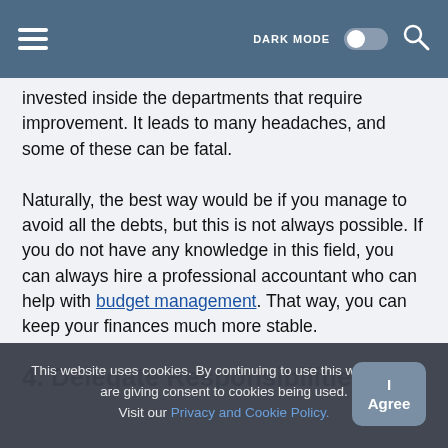DARK MODE [toggle] [search]
invested inside the departments that require improvement. It leads to many headaches, and some of these can be fatal.
Naturally, the best way would be if you manage to avoid all the debts, but this is not always possible. If you do not have any knowledge in this field, you can always hire a professional accountant who can help with budget management. That way, you can keep your finances much more stable.
4. Delegate Responsibilities
This website uses cookies. By continuing to use this website you are giving consent to cookies being used. Visit our Privacy and Cookie Policy.